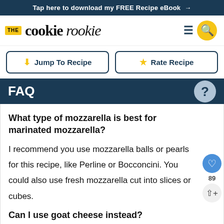Tap here to download my FREE Recipe eBook →
[Figure (logo): The Cookie Rookie logo with yellow 'THE' badge and stylized serif/italic text]
Jump To Recipe
Rate Recipe
FAQ
What type of mozzarella is best for marinated mozzarella?
I recommend you use mozzarella balls or pearls for this recipe, like Perline or Bocconcini. You could also use fresh mozzarella cut into slices or cubes.
Can I use goat cheese instead?